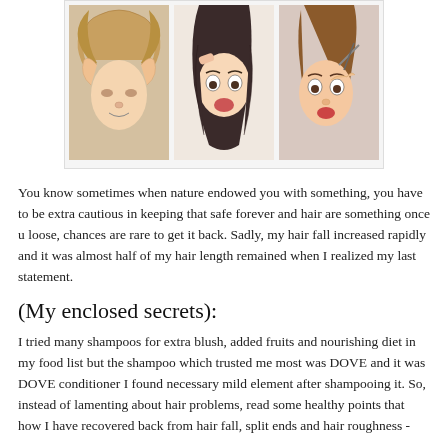[Figure (photo): Collage of three women with hair problems: one with tangled messy hair, one looking distressed holding hair, one examining hair with scissors]
You know sometimes when nature endowed you with something, you have to be extra cautious in keeping that safe forever and hair are something once u loose, chances are rare to get it back. Sadly, my hair fall increased rapidly and it was almost half of my hair length remained when I realized my last statement.
(My enclosed secrets):
I tried many shampoos for extra blush, added fruits and nourishing diet in my food list but the shampoo which trusted me most was DOVE and it was DOVE conditioner I found necessary mild element after shampooing it. So, instead of lamenting about hair problems, read some healthy points that how I have recovered back from hair fall, split ends and hair roughness -
Nutritious Diet: Are you a diet cautious? If the answer is yes, then let me tell you girls, whoever have long hair should never do strict dieting